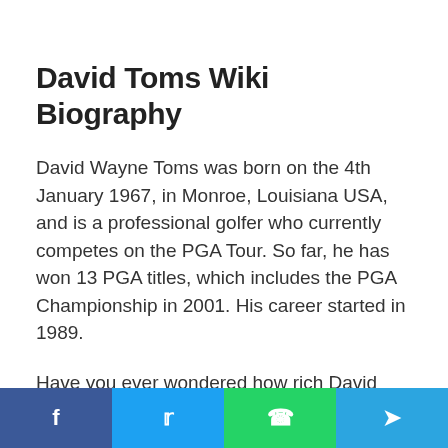David Toms Wiki Biography
David Wayne Toms was born on the 4th January 1967, in Monroe, Louisiana USA, and is a professional golfer who currently competes on the PGA Tour. So far, he has won 13 PGA titles, which includes the PGA Championship in 2001. His career started in 1989.
Have you ever wondered how rich David Toms is, as of early 2017? According to
f  t  (whatsapp icon)  (telegram icon)